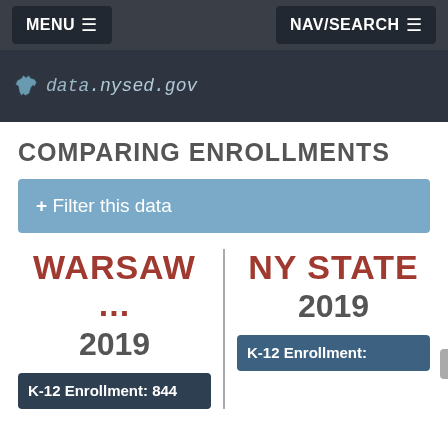MENU ≡    NAV/SEARCH ≡
[Figure (logo): data.nysed.gov logo with New York state silhouette icon]
COMPARING ENROLLMENTS
+ Filter this data
WARSAW ...
2019
K-12 Enrollment: 844
NY STATE
2019
K-12 Enrollment: